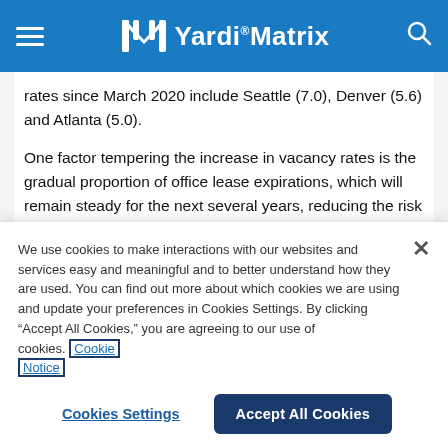Yardi Matrix
rates since March 2020 include Seattle (7.0), Denver (5.6) and Atlanta (5.0).
One factor tempering the increase in vacancy rates is the gradual proportion of office lease expirations, which will remain steady for the next several years, reducing the risk of mass amounts of office space being returned to the market.
We use cookies to make interactions with our websites and services easy and meaningful and to better understand how they are used. You can find out more about which cookies we are using and update your preferences in Cookies Settings. By clicking “Accept All Cookies,” you are agreeing to our use of cookies. Cookie Notice
Cookies Settings | Accept All Cookies